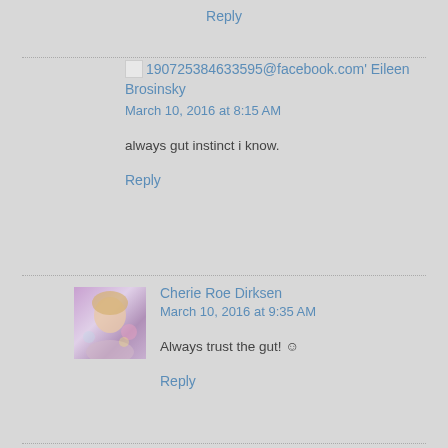Reply
190725384633595@facebook.com' Eileen Brosinsky
March 10, 2016 at 8:15 AM
always gut instinct i know.
Reply
[Figure (photo): Avatar photo of Cherie Roe Dirksen]
Cherie Roe Dirksen
March 10, 2016 at 9:35 AM
Always trust the gut! ☺
Reply